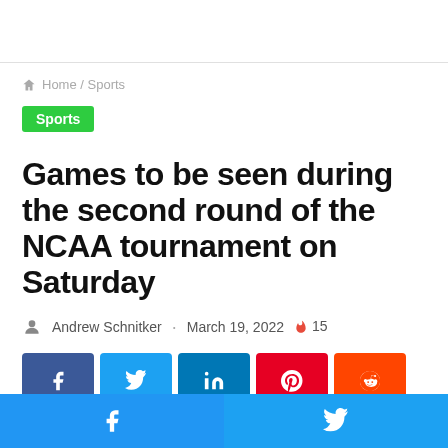Home / Sports
Sports
Games to be seen during the second round of the NCAA tournament on Saturday
Andrew Schnitker · March 19, 2022 🔥 15
[Figure (other): Social share buttons: Facebook, Twitter, LinkedIn, Pinterest, Reddit, and bottom bar with Facebook and Twitter icons]
Facebook | Twitter